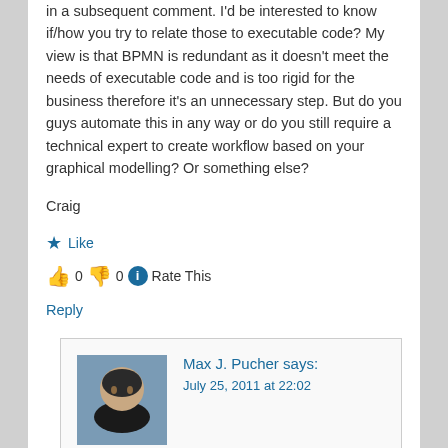in a subsequent comment. I'd be interested to know if/how you try to relate those to executable code? My view is that BPMN is redundant as it doesn't meet the needs of executable code and is too rigid for the business therefore it's an unnecessary step. But do you guys automate this in any way or do you still require a technical expert to create workflow based on your graphical modelling? Or something else?
Craig
★ Like
👍 0 👎 0 ℹ Rate This
Reply
Max J. Pucher says: July 25, 2011 at 22:02
Craig, thanks for reading and commenting. You